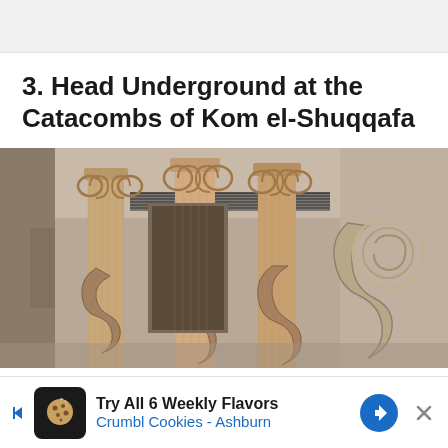3. Head Underground at the Catacombs of Kom el-Shuqqafa
[Figure (photo): Interior view of the Catacombs of Kom el-Shuqqafa showing ancient Greco-Roman columns with carved snake reliefs, ornate capitals, and carved stone decorations on the underground tomb walls]
Try All 6 Weekly Flavors Crumbl Cookies - Ashburn